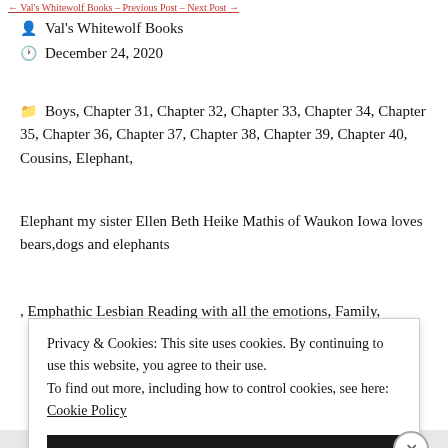Val's Whitewolf Books – December 24, 2020 – Boys, Chapter 31, Chapter 32...
Val's Whitewolf Books
December 24, 2020
Boys, Chapter 31, Chapter 32, Chapter 33, Chapter 34, Chapter 35, Chapter 36, Chapter 37, Chapter 38, Chapter 39, Chapter 40, Cousins, Elephant,
Elephant my sister Ellen Beth Heike Mathis of Waukon Iowa loves bears,dogs and elephants
, Emphathic Lesbian Reading with all the emotions, Family,
Privacy & Cookies: This site uses cookies. By continuing to use this website, you agree to their use.
To find out more, including how to control cookies, see here: Cookie Policy
Close and accept